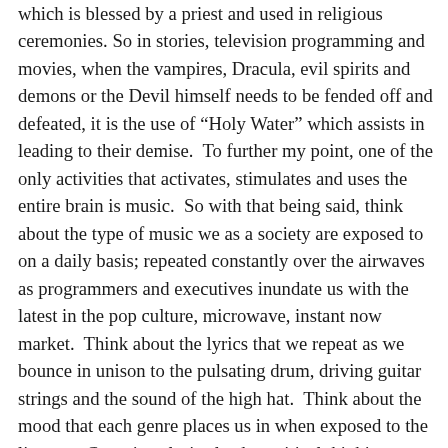which is blessed by a priest and used in religious ceremonies. So in stories, television programming and movies, when the vampires, Dracula, evil spirits and demons or the Devil himself needs to be fended off and defeated, it is the use of “Holy Water” which assists in leading to their demise.  To further my point, one of the only activities that activates, stimulates and uses the entire brain is music.  So with that being said, think about the type of music we as a society are exposed to on a daily basis; repeated constantly over the airwaves as programmers and executives inundate us with the latest in the pop culture, microwave, instant now market.  Think about the lyrics that we repeat as we bounce in unison to the pulsating drum, driving guitar strings and the sound of the high hat.  Think about the mood that each genre places us in when exposed to the listener.  Conscious lyrics lead to critical thinking; gangsta rap leads to violence and corruption; a love song produces empathy; rock and roll – rebellion and defiance; the blues are just that; country leaves you grounded.  But overall, dependent upon the listener’s preference, it reveals a